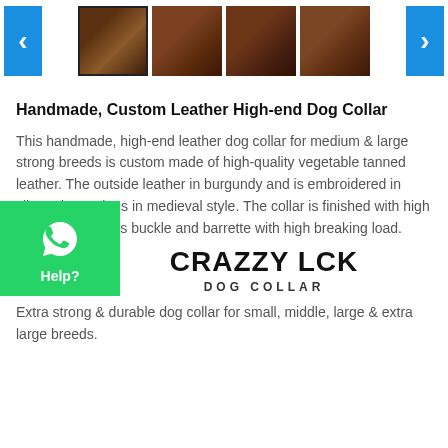[Figure (screenshot): Product image carousel with navigation arrows and four thumbnail images of a leather dog collar]
Handmade, Custom Leather High-end Dog Collar
This handmade, high-end leather dog collar for medium & large strong breeds is custom made of high-quality vegetable tanned leather. The outside leather in burgundy and is embroidered in silver trim settings in medieval style. The collar is finished with high quality solid brass buckle and barrette with high breaking load.
[Figure (logo): CRAZZY LCK DOG COLLAR brand logo]
Extra strong & durable dog collar for small, middle, large & extra large breeds.